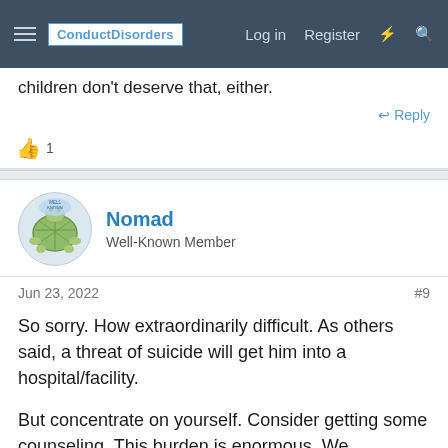ConductDisorders | Log in | Register
children don't deserve that, either.
👍 1
Nomad
Well-Known Member
Jun 23, 2022  #9
So sorry. How extraordinarily difficult. As others said, a threat of suicide will get him into a hospital/facility.

But concentrate on yourself. Consider getting some counseling. This burden is enormous. We understand.
❤ 1